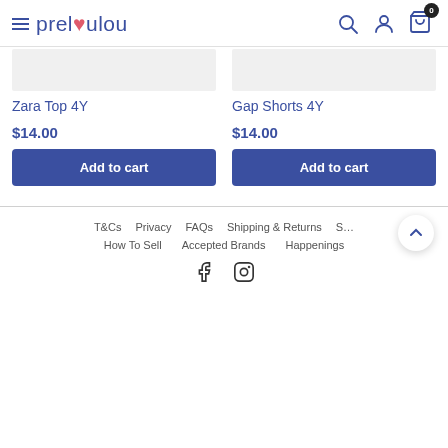preloulou — navigation header with logo, search, account, and cart icons
[Figure (screenshot): Partial product image placeholder for Zara Top 4Y]
Zara Top 4Y
$14.00
Add to cart
[Figure (screenshot): Partial product image placeholder for Gap Shorts 4Y]
Gap Shorts 4Y
$14.00
Add to cart
T&Cs   Privacy   FAQs   Shipping & Returns   S…
How To Sell   Accepted Brands   Happenings
Facebook   Instagram icons